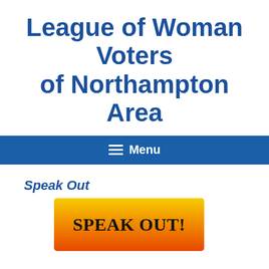League of Woman Voters of Northampton Area
Menu
Speak Out
[Figure (other): Orange-yellow gradient button with text SPEAK OUT! in bold black serif font]
ADVOCATES FOR CHANGE
Contact your legislators. Speak out for